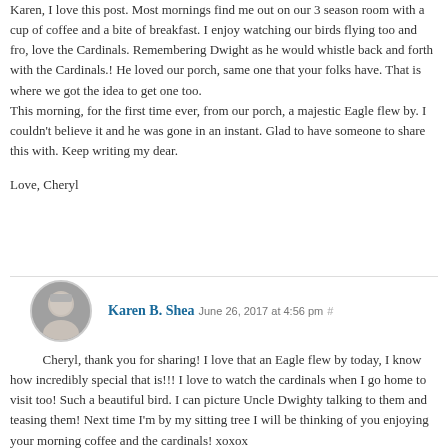Karen, I love this post. Most mornings find me out on our 3 season room with a cup of coffee and a bite of breakfast. I enjoy watching our birds flying too and fro, love the Cardinals. Remembering Dwight as he would whistle back and forth with the Cardinals.! He loved our porch, same one that your folks have. That is where we got the idea to get one too.
This morning, for the first time ever, from our porch, a majestic Eagle flew by. I couldn't believe it and he was gone in an instant. Glad to have someone to share this with. Keep writing my dear.

Love, Cheryl
Karen B. Shea June 26, 2017 at 4:56 pm #
Cheryl, thank you for sharing! I love that an Eagle flew by today, I know how incredibly special that is!!! I love to watch the cardinals when I go home to visit too! Such a beautiful bird. I can picture Uncle Dwighty talking to them and teasing them! Next time I'm by my sitting tree I will be thinking of you enjoying your morning coffee and the cardinals! xoxox